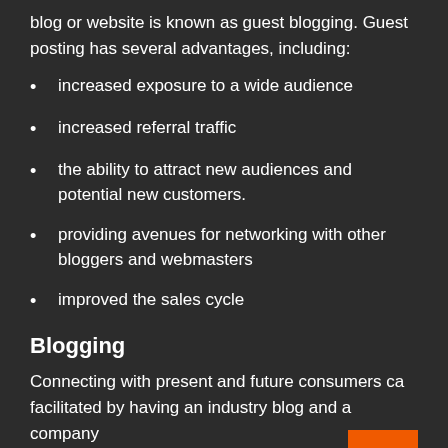blog or website is known as guest blogging. Guest posting has several advantages, including:
increased exposure to a wide audience
increased referral traffic
the ability to attract new audiences and potential new customers.
providing avenues for networking with other bloggers and webmasters
improved the sales cycle
Blogging
Connecting with present and future consumers can be facilitated by having an industry blog and a company newsletter. Blogging is an important component of any